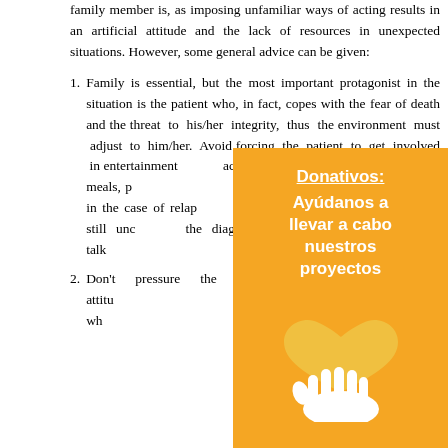family member is, as imposing unfamiliar ways of acting results in an artificial attitude and the lack of resources in unexpected situations. However, some general advice can be given:
Family is essential, but the most important protagonist in the situation is the patient who, in fact, copes with the fear of death and the threat to his/her integrity, thus the environment must adjust to him/her. Avoid forcing the patient to get involved in entertainment activities, supposedly appetising meals, p... above all at the be... in the case of relap... but in most cases... patient is still unc... the diagnosis, cons... or try to softly talk...
Don't pressure the... and positive attitu... show happiness wh...
[Figure (infographic): Orange banner overlay with text 'Donativos: Ayúdanos a llevar a cabo nuestros proyectos' and a heart icon above a hand icon, in white on orange background.]